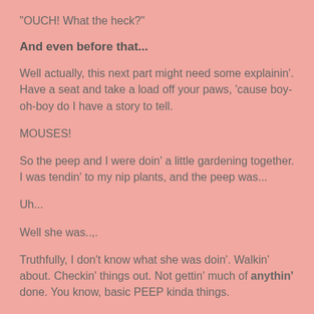"OUCH!  What the heck?"
And even before that...
Well actually, this next part might need some explainin'. Have a seat and take a load off your paws, 'cause boy-oh-boy do I have a story to tell.
MOUSES!
So the peep and I were doin' a little gardening together.  I was tendin' to my nip plants, and the peep was...
Uh...
Well she was..,.
Truthfully, I don't know what she was doin'.  Walkin' about.  Checkin' things out.  Not gettin' much of anythin' done.  You know, basic PEEP kinda things.
Oh sure, she pulled a few weeds out here, and maybe a few